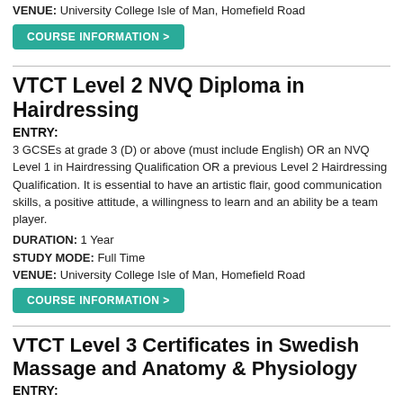VENUE: University College Isle of Man, Homefield Road
COURSE INFORMATION >
VTCT Level 2 NVQ Diploma in Hairdressing
ENTRY:
3 GCSEs at grade 3 (D) or above (must include English) OR an NVQ Level 1 in Hairdressing Qualification OR a previous Level 2 Hairdressing Qualification. It is essential to have an artistic flair, good communication skills, a positive attitude, a willingness to learn and an ability be a team player.
DURATION: 1 Year
STUDY MODE: Full Time
VENUE: University College Isle of Man, Homefield Road
COURSE INFORMATION >
VTCT Level 3 Certificates in Swedish Massage and Anatomy & Physiology
ENTRY:
There are no entry requirements, however it is necessary to have: